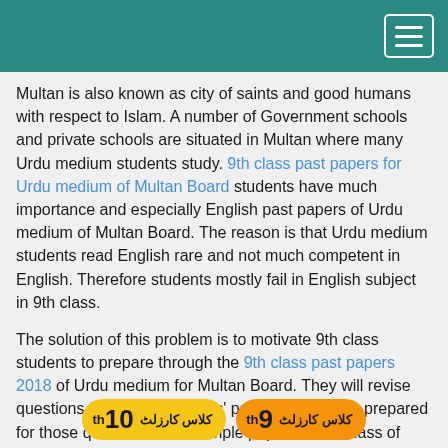[Figure (other): Teal/green header bar with hamburger menu button (three horizontal lines) in the top right corner]
Multan is also known as city of saints and good humans with respect to Islam. A number of Government schools and private schools are situated in Multan where many Urdu medium students study. 9th class past papers for Urdu medium of Multan Board students have much importance and especially English past papers of Urdu medium of Multan Board. The reason is that Urdu medium students read English rare and not much competent in English. Therefore students mostly fail in English subject in 9th class.
The solution of this problem is to motivate 9th class students to prepare through the 9th class past papers 2018 of Urdu medium for Multan Board. They will revise questions from last five years' papers and will be prepared for those questions from sample papers of 9th class of Multan Board. They will get good marks in exams. Thus problem will be solved of failing students in Multan so it is advised to 9th class students to work hard by learning exams questions.
[Figure (other): Two badge buttons at the bottom: yellow badge with Urdu text and '10th', orange badge with Urdu text and '9th']